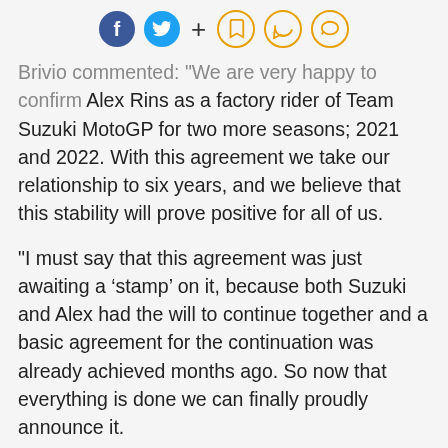[Social share icons: Facebook, Twitter, +, bookmark, chat, comment]
Brivio commented: "We are very happy to confirm Alex Rins as a factory rider of Team Suzuki MotoGP for two more seasons; 2021 and 2022. With this agreement we take our relationship to six years, and we believe that this stability will prove positive for all of us.
"I must say that this agreement was just awaiting a ‘stamp’ on it, because both Suzuki and Alex had the will to continue together and a basic agreement for the continuation was already achieved months ago. So now that everything is done we can finally proudly announce it.
"As a team our aim is to keep the whole working group together and become even stronger, we had a fantastic end of the season last year and this is